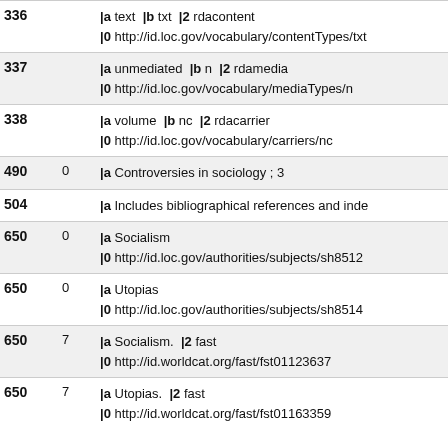| Tag | Ind | Data |
| --- | --- | --- |
| 336 |  | |a text |b txt |2 rdacontent
|0 http://id.loc.gov/vocabulary/contentTypes/txt |
| 337 |  | |a unmediated |b n |2 rdamedia
|0 http://id.loc.gov/vocabulary/mediaTypes/n |
| 338 |  | |a volume |b nc |2 rdacarrier
|0 http://id.loc.gov/vocabulary/carriers/nc |
| 490 | 0 | |a Controversies in sociology ; 3 |
| 504 |  | |a Includes bibliographical references and inde |
| 650 | 0 | |a Socialism
|0 http://id.loc.gov/authorities/subjects/sh8512... |
| 650 | 0 | |a Utopias
|0 http://id.loc.gov/authorities/subjects/sh8514... |
| 650 | 7 | |a Socialism. |2 fast
|0 http://id.worldcat.org/fast/fst01123637 |
| 650 | 7 | |a Utopias. |2 fast
|0 http://id.worldcat.org/fast/fst01163359 |